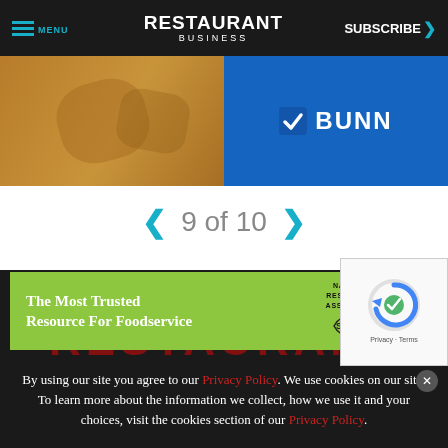MENU | RESTAURANT BUSINESS | SUBSCRIBE >
[Figure (photo): Advertisement image showing hands holding a cup with BUNN logo on blue background]
9 of 10
[Figure (infographic): Green banner ad: The Most Trusted Resource For Foodservice, National Restaurant Association Show 2023]
[Figure (other): reCAPTCHA widget with spinning arrow logo and Privacy - Terms text]
[Figure (other): Partially visible red text RESTAURANT in background]
By using our site you agree to our Privacy Policy. We use cookies on our site. To learn more about the information we collect, how we use it and your choices, visit the cookies section of our Privacy Policy.